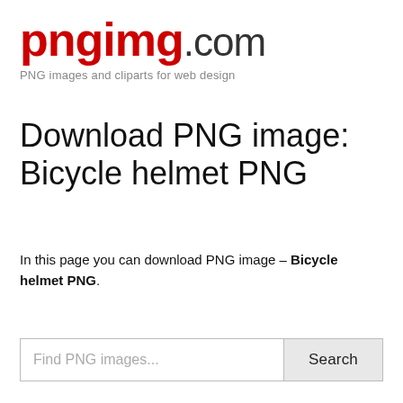pngimg.com — PNG images and cliparts for web design
Download PNG image: Bicycle helmet PNG
In this page you can download PNG image – Bicycle helmet PNG.